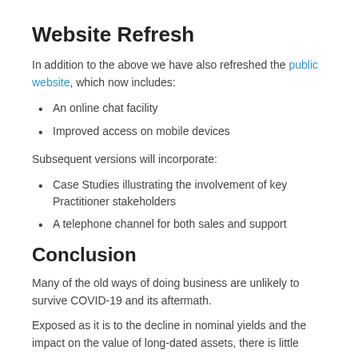Website Refresh
In addition to the above we have also refreshed the public website, which now includes:
An online chat facility
Improved access on mobile devices
Subsequent versions will incorporate:
Case Studies illustrating the involvement of key Practitioner stakeholders
A telephone channel for both sales and support
Conclusion
Many of the old ways of doing business are unlikely to survive COVID-19 and its aftermath.
Exposed as it is to the decline in nominal yields and the impact on the value of long-dated assets, there is little